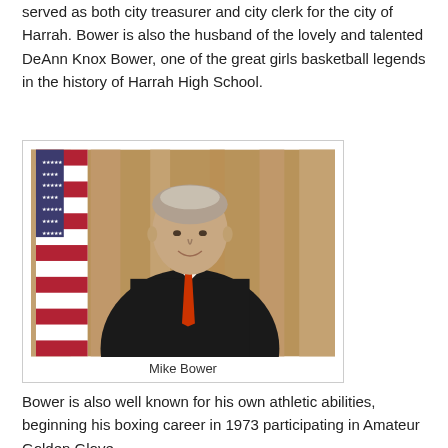served as both city treasurer and city clerk for the city of Harrah. Bower is also the husband of the lovely and talented DeAnn Knox Bower, one of the great girls basketball legends in the history of Harrah High School.
[Figure (photo): Portrait photo of Mike Bower, a man in a dark suit and red tie, standing in front of an American flag with a wood-paneled background.]
Mike Bower
Bower is also well known for his own athletic abilities, beginning his boxing career in 1973 participating in Amateur Golden Glove